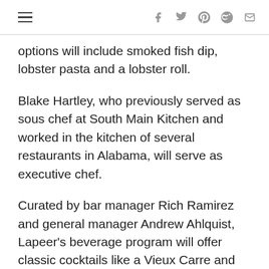navigation and social icons
options will include smoked fish dip, lobster pasta and a lobster roll.
Blake Hartley, who previously served as sous chef at South Main Kitchen and worked in the kitchen of several restaurants in Alabama, will serve as executive chef.
Curated by bar manager Rich Ramirez and general manager Andrew Ahlquist, Lapeer’s beverage program will offer classic cocktails like a Vieux Carre and custom cocktails like the Char-Swizzy with overproof rum, green chartreuse, pineapple and lime juice, as well as a selection of beer and wine.